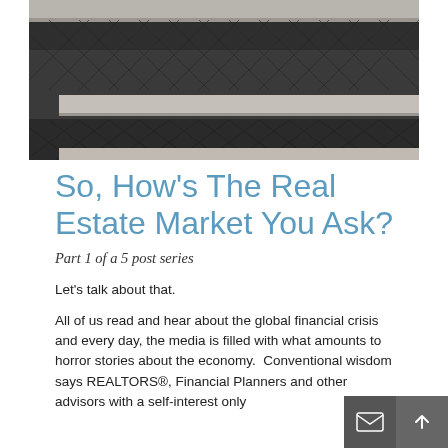[Figure (photo): Close-up photograph of ornate stone building facade with decorative carved details and marble ledges/cornices in dark and light gray tones]
So, How’s The Real Estate Market You Ask?
Part 1 of a 5 post series
Let’s talk about that.
All of us read and hear about the global financial crisis and every day, the media is filled with what amounts to horror stories about the economy.  Conventional wisdom says REALTORS®, Financial Planners and other advisors with a self-interest only